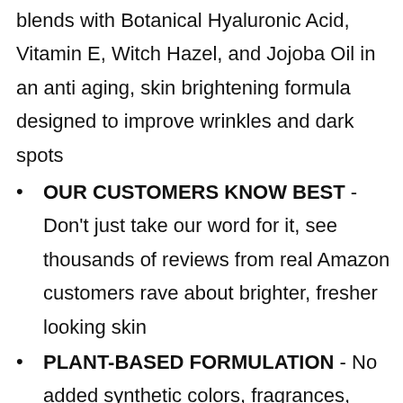blends with Botanical Hyaluronic Acid, Vitamin E, Witch Hazel, and Jojoba Oil in an anti aging, skin brightening formula designed to improve wrinkles and dark spots
OUR CUSTOMERS KNOW BEST - Don't just take our word for it, see thousands of reviews from real Amazon customers rave about brighter, fresher looking skin
PLANT-BASED FORMULATION - No added synthetic colors, fragrances, parabens, phthalates, sulfates, PEGs, or GMOs. Our active botanicals combine in a silky smooth anti-aging serum that can be